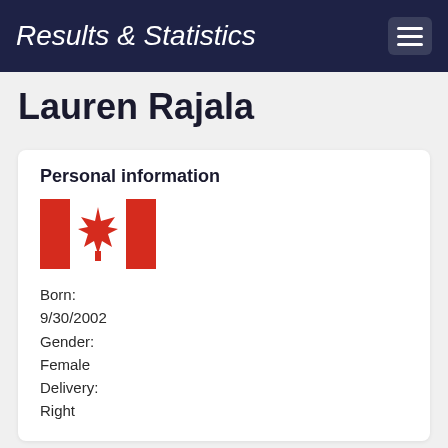Results & Statistics
Lauren Rajala
Personal information
[Figure (illustration): Canadian flag]
Born:
9/30/2002
Gender:
Female
Delivery:
Right
Summary